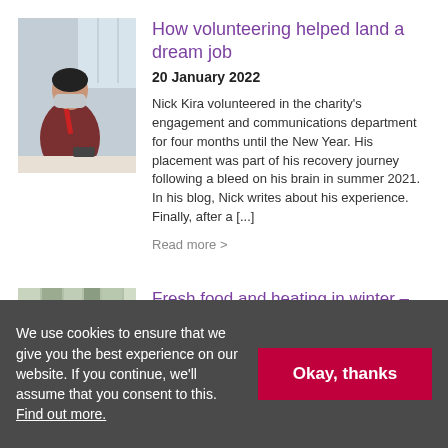[Figure (photo): Person sitting at a desk wearing a face mask and red lanyard, office environment visible in background]
How volunteering helped land a dream job
20 January 2022
Nick Kira volunteered in the charity's engagement and communications department for four months until the New Year. His placement was part of his recovery journey following a bleed on his brain in summer 2021. In his blog, Nick writes about his experience. Finally, after a [...]
Read more >
[Figure (photo): Partial view of a building exterior or indoor scene with vertical lines]
Fresh food and heating in winter –
We use cookies to ensure that we give you the best experience on our website. If you continue, we'll assume that you consent to this. Find out more.